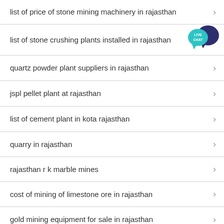list of price of stone mining machinery in rajasthan
list of stone crushing plants installed in rajasthan
quartz powder plant suppliers in rajasthan
jspl pellet plant at rajasthan
list of cement plant in kota rajasthan
quarry in rajasthan
rajasthan r k marble mines
cost of mining of limestone ore in rajasthan
gold mining equipment for sale in rajasthan